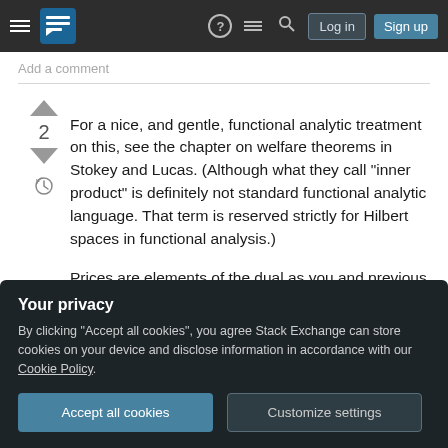Stack Exchange navigation bar with logo, help, chat, search, Log in, Sign up buttons
Add a comment
For a nice, and gentle, functional analytic treatment on this, see the chapter on welfare theorems in Stokey and Lucas. (Although what they call "inner product" is definitely not standard functional analytic language. That term is reserved strictly for Hilbert spaces in functional analysis.)

Prices are elements of the dual as you and previous answer stated. Where one needs to be more careful
Your privacy
By clicking "Accept all cookies", you agree Stack Exchange can store cookies on your device and disclose information in accordance with our Cookie Policy.
Accept all cookies
Customize settings
Share